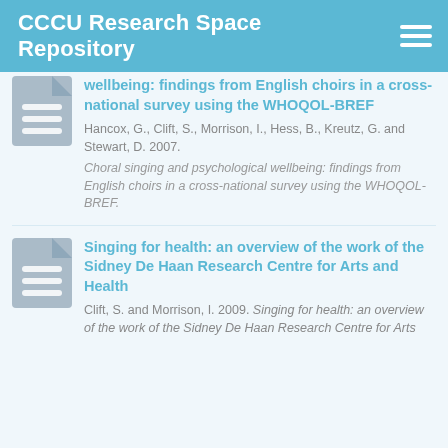CCCU Research Space Repository
wellbeing: findings from English choirs in a cross-national survey using the WHOQOL-BREF
Hancox, G., Clift, S., Morrison, I., Hess, B., Kreutz, G. and Stewart, D. 2007.
Choral singing and psychological wellbeing: findings from English choirs in a cross-national survey using the WHOQOL-BREF.
Singing for health: an overview of the work of the Sidney De Haan Research Centre for Arts and Health
Clift, S. and Morrison, I. 2009.
Singing for health: an overview of the work of the Sidney De Haan Research Centre for Arts